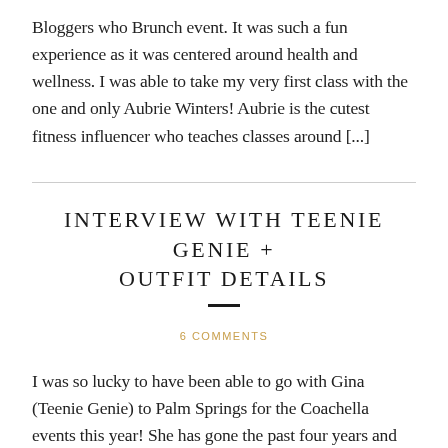Bloggers who Brunch event. It was such a fun experience as it was centered around health and wellness. I was able to take my very first class with the one and only Aubrie Winters! Aubrie is the cutest fitness influencer who teaches classes around [...]
INTERVIEW WITH TEENIE GENIE + OUTFIT DETAILS
6 COMMENTS
I was so lucky to have been able to go with Gina (Teenie Genie) to Palm Springs for the Coachella events this year! She has gone the past four years and since this was my first time it helped so much to have someone who knew their way around. I